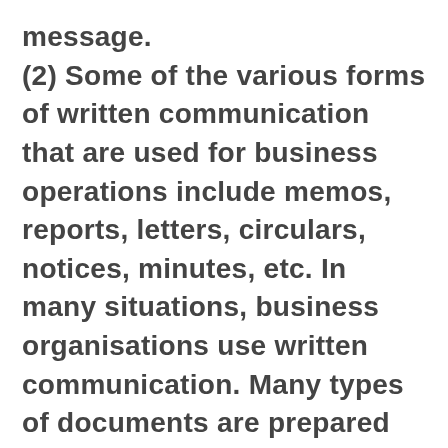message. (2) Some of the various forms of written communication that are used for business operations include memos, reports, letters, circulars, notices, minutes, etc. In many situations, business organisations use written communication. Many types of documents are prepared for official Work are the finest examples of written communication.